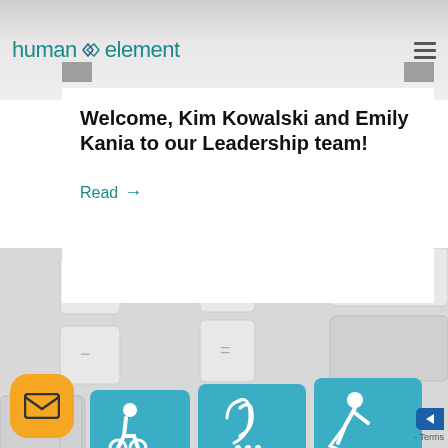human element
Welcome, Kim Kowalski and Emily Kania to our Leadership team!
Read →
[Figure (photo): Keyboard with blue accessibility keys: wheelchair symbol, hearing/ear symbol, and blind person with cane symbol. Standard white keys visible including F10, +, -, =, delete. A yellow email button with envelope icon overlays the bottom left.]